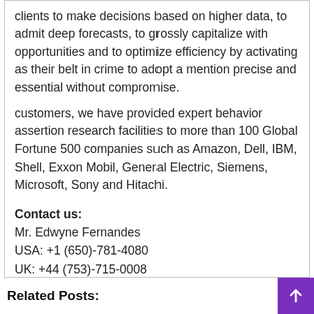clients to make decisions based on higher data, to admit deep forecasts, to grossly capitalize with opportunities and to optimize efficiency by activating as their belt in crime to adopt a mention precise and essential without compromise. customers, we have provided expert behavior assertion research facilities to more than 100 Global Fortune 500 companies such as Amazon, Dell, IBM, Shell, Exxon Mobil, General Electric, Siemens, Microsoft, Sony and Hitachi.
Contact us:
Mr. Edwyne Fernandes
USA: +1 (650)-781-4080
UK: +44 (753)-715-0008
APAC: +61 (488)-85-9400
US toll free: +1 (800)-782-1768
Website: –https://www.marketresearchintellect.com/
Related Posts: